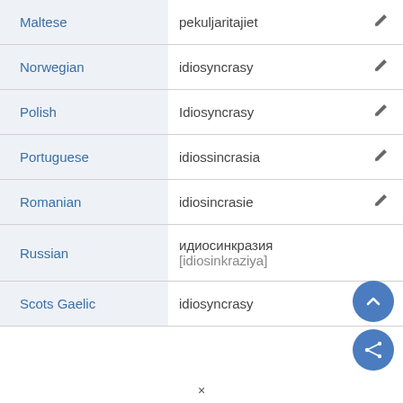| Language | Translation | Edit |
| --- | --- | --- |
| Maltese | pekuljaritajiet |  |
| Norwegian | idiosyncrasy |  |
| Polish | Idiosyncrasy |  |
| Portuguese | idiossincrasia |  |
| Romanian | idiosincrasie |  |
| Russian | идиосинкразия [idiosinkraziya] |  |
| Scots Gaelic | idiosyncrasy |  |
×